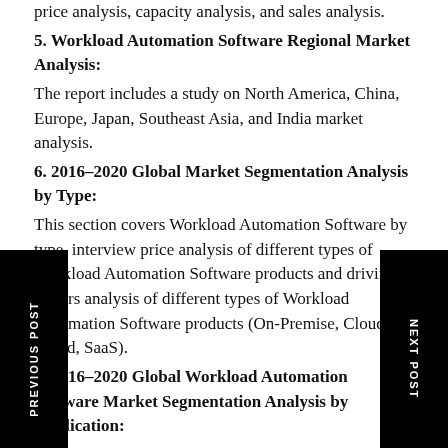price analysis, capacity analysis, and sales analysis.
5. Workload Automation Software Regional Market Analysis:
The report includes a study on North America, China, Europe, Japan, Southeast Asia, and India market analysis.
6. 2016–2020 Global Market Segmentation Analysis by Type:
This section covers Workload Automation Software by type, interview price analysis of different types of Workload Automation Software products and driving factors analysis of different types of Workload Automation Software products (On-Premise, Cloud-Based, SaaS).
7. 2016–2020 Global Workload Automation Software Market Segmentation Analysis by Application:
It includes Workload Automation Software consumption by application, different applications of Workload Automation Software products, and other studies (SME (Small and Medium Enterprises), Large